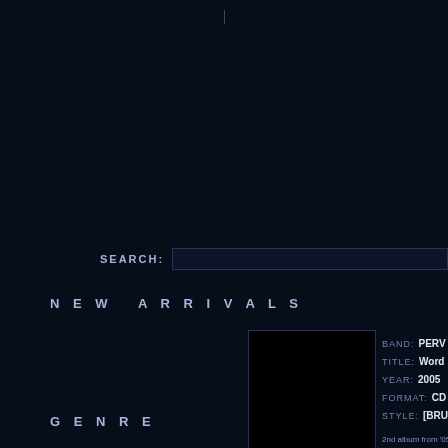SEARCH:
NEW ARRIVALS
[Figure (photo): Album cover image, black square]
BAND: PERV
TITLE: Word
YEAR: 2005
FORMAT: CD
STYLE: [BRUT
GENRE
2nd album from '05 by thi